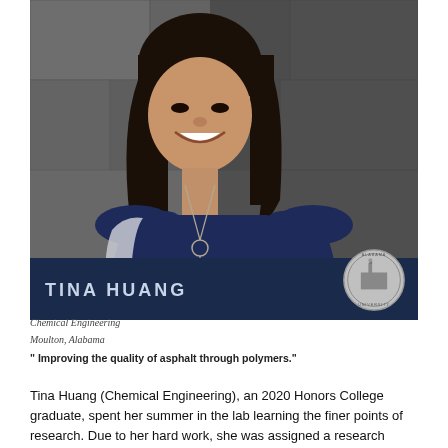[Figure (photo): Portrait photo of Tina Huang, a young woman with long dark hair wearing a navy sleeveless top and a long necklace, smiling, photographed against a stone wall background.]
TINA HUANG
Chemical Engineering
Moulton, Alabama
" Improving the quality of asphalt through polymers."
Tina Huang (Chemical Engineering), an 2020 Honors College graduate, spent her summer in the lab learning the finer points of research. Due to her hard work, she was assigned a research project that will impact our everyday